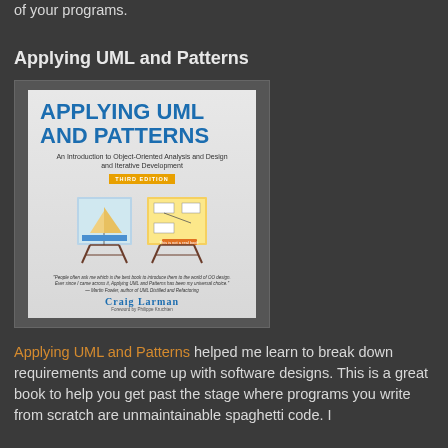of your programs.
Applying UML and Patterns
[Figure (photo): Book cover of 'Applying UML and Patterns: An Introduction to Object-Oriented Analysis and Design and Iterative Development, Third Edition' by Craig Larman]
Applying UML and Patterns helped me learn to break down requirements and come up with software designs. This is a great book to help you get past the stage where programs you write from scratch are unmaintainable spaghetti code. I